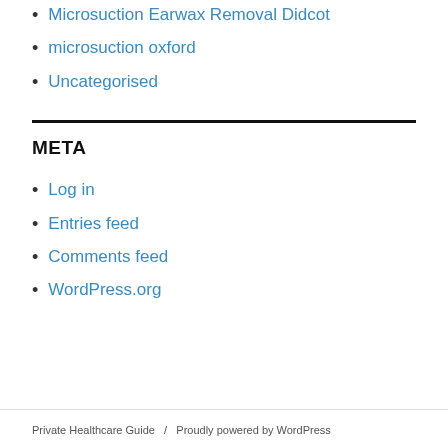Microsuction Earwax Removal Didcot
microsuction oxford
Uncategorised
META
Log in
Entries feed
Comments feed
WordPress.org
Private Healthcare Guide   /   Proudly powered by WordPress